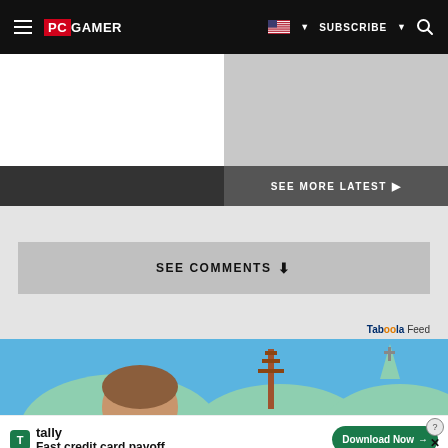PC GAMER | SUBSCRIBE
[Figure (screenshot): Two-panel content area: left panel white, right panel light gray]
SEE MORE LATEST ▶
SEE COMMENTS ⬇
Taboola Feed
[Figure (illustration): Cartoon-style illustration with blue sky, round character shapes, a tower/antenna, and a church steeple with cross]
[Figure (screenshot): Tally app advertisement: Fast credit card payoff. Download Now button.]